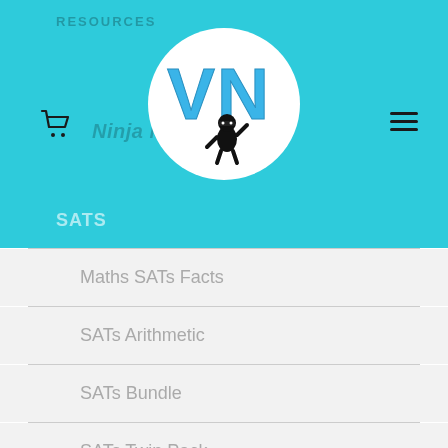RESOURCES
[Figure (logo): VN Ninja Numerics logo: blue letters VN with a ninja character on white circle background]
Ninja Numerics
SATS
Maths SATs Facts
SATs Arithmetic
SATs Bundle
SATs Twin Pack
SPAG
Noun Vs. Verb
Picture Processor